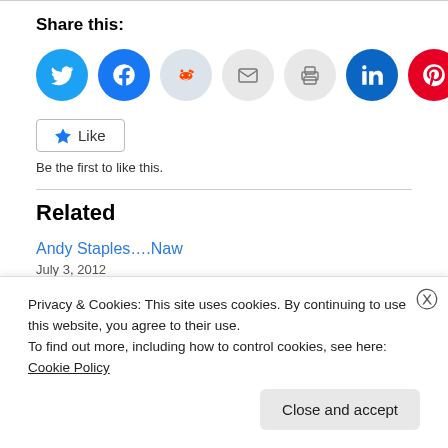Share this:
[Figure (infographic): Row of social media share icon circles: Twitter (blue), Facebook (blue), Reddit (light blue-grey), Email (grey), Print (grey), LinkedIn (dark teal), Pinterest (red), Tumblr (dark navy)]
Like
Be the first to like this.
Related
Andy Staples….Naw
July 3, 2012
Privacy & Cookies: This site uses cookies. By continuing to use this website, you agree to their use.
To find out more, including how to control cookies, see here: Cookie Policy
Close and accept